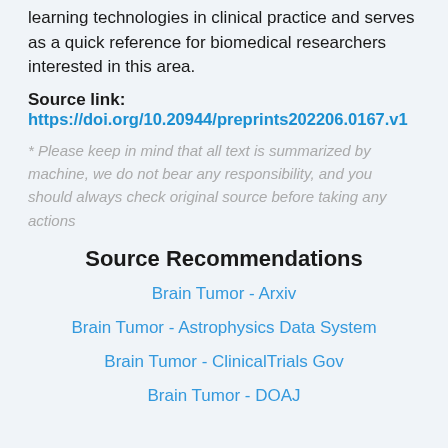learning technologies in clinical practice and serves as a quick reference for biomedical researchers interested in this area.
Source link: https://doi.org/10.20944/preprints202206.0167.v1
* Please keep in mind that all text is summarized by machine, we do not bear any responsibility, and you should always check original source before taking any actions
Source Recommendations
Brain Tumor - Arxiv
Brain Tumor - Astrophysics Data System
Brain Tumor - ClinicalTrials Gov
Brain Tumor - DOAJ